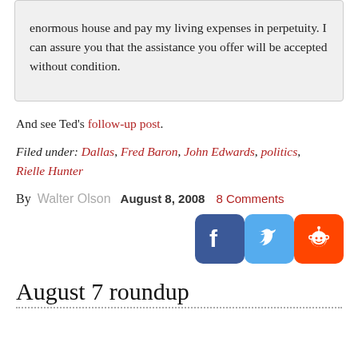enormous house and pay my living expenses in perpetuity. I can assure you that the assistance you offer will be accepted without condition.
And see Ted's follow-up post.
Filed under: Dallas, Fred Baron, John Edwards, politics, Rielle Hunter
By Walter Olson  August 8, 2008  8 Comments
[Figure (infographic): Social media sharing icons: Facebook (dark blue), Twitter (light blue), Reddit (orange)]
August 7 roundup